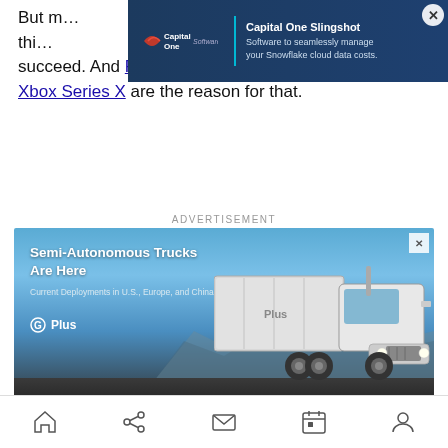But in...out by this...in a strong position to succeed. And PlayStation 5 and Xbox Series X are the reason for that.
[Figure (photo): Capital One Software advertisement banner: Capital One Slingshot - Software to seamlessly manage your Snowflake cloud data costs.]
ADVERTISEMENT
[Figure (photo): Plus.ai advertisement showing a white semi-autonomous truck driving on a highway. Text: Semi-Autonomous Trucks Are Here. Current Deployments in U.S., Europe, and China. G+Plus logo.]
Home | Share | Mail | Calendar | Profile navigation icons